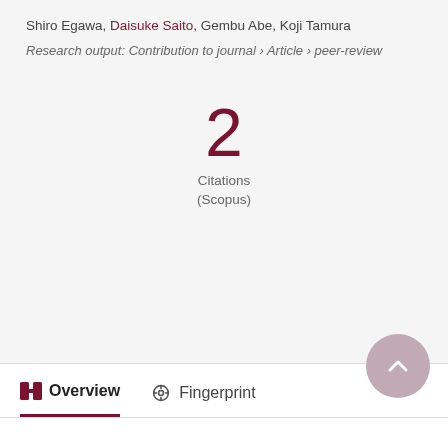Shiro Egawa, Daisuke Saito, Gembu Abe, Koji Tamura
Research output: Contribution to journal › Article › peer-review
2
Citations
(Scopus)
Overview
Fingerprint